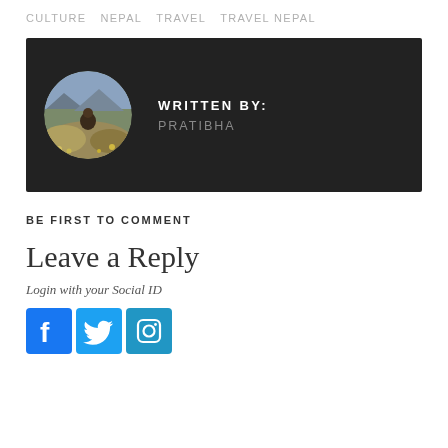CULTURE   NEPAL   TRAVEL   TRAVEL NEPAL
[Figure (photo): Author bio box with dark background showing a circular profile photo of a person outdoors (Pratibha), with 'WRITTEN BY:' label and author name 'PRATIBHA']
BE FIRST TO COMMENT
Leave a Reply
Login with your Social ID
[Figure (logo): Social media login icons: Facebook, Twitter, Instagram]